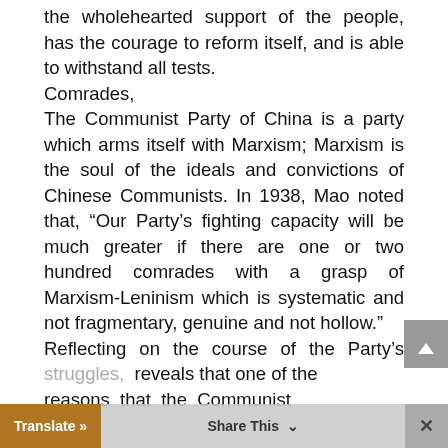the wholehearted support of the people, has the courage to reform itself, and is able to withstand all tests.
Comrades,
The Communist Party of China is a party which arms itself with Marxism; Marxism is the soul of the ideals and convictions of Chinese Communists. In 1938, Mao noted that, “Our Party’s fighting capacity will be much greater if there are one or two hundred comrades with a grasp of Marxism-Leninism which is systematic and not fragmentary, genuine and not hollow.”
Reflecting on the course of the Party’s struggles, reveals that one of the reasons that the Communist
[Figure (screenshot): Bottom browser toolbar with Translate, Share This, and close (x) buttons]